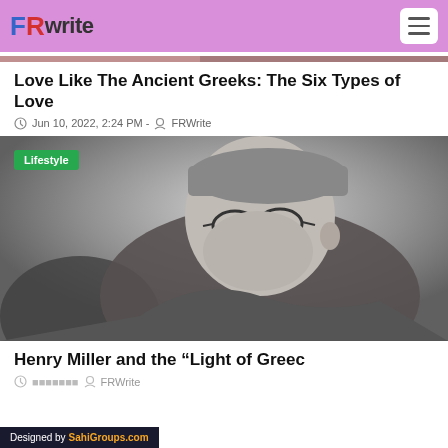FRwrite
[Figure (photo): Top strip of a photo (partially visible, colorful)]
Love Like The Ancient Greeks: The Six Types of Love
Jun 10, 2022, 2:24 PM - FRWrite
[Figure (photo): Black and white photograph of an elderly man with round glasses and a cap, wearing a heavy coat, looking upward. Badge: Lifestyle]
Henry Miller and the “Light of Greec
FRWrite
Designed by SahiGroups.com